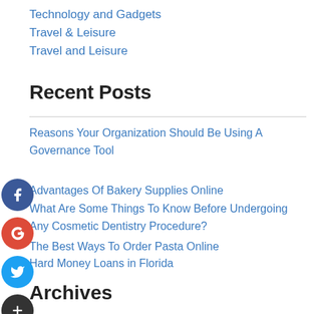Technology and Gadgets
Travel & Leisure
Travel and Leisure
Recent Posts
Reasons Your Organization Should Be Using A Governance Tool
Advantages Of Bakery Supplies Online
What Are Some Things To Know Before Undergoing Any Cosmetic Dentistry Procedure?
The Best Ways To Order Pasta Online
Hard Money Loans in Florida
Archives